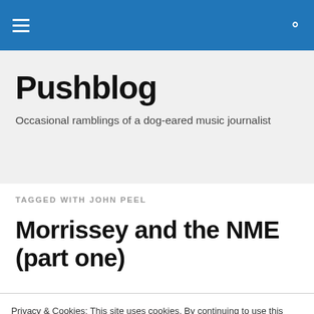Pushblog navigation bar
Pushblog
Occasional ramblings of a dog-eared music journalist
TAGGED WITH JOHN PEEL
Morrissey and the NME (part one)
Privacy & Cookies: This site uses cookies. By continuing to use this website, you agree to their use. To find out more, including how to control cookies, see here: Cookie Policy
Close and accept